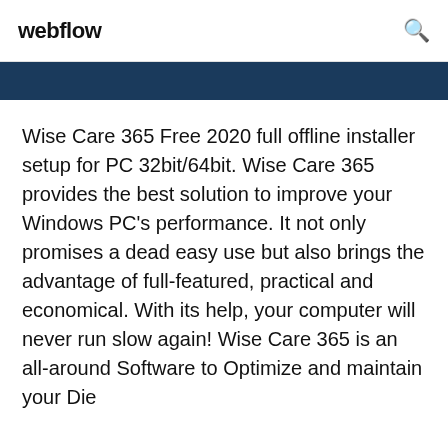webflow
[Figure (other): Dark blue horizontal banner strip]
Wise Care 365 Free 2020 full offline installer setup for PC 32bit/64bit. Wise Care 365 provides the best solution to improve your Windows PC's performance. It not only promises a dead easy use but also brings the advantage of full-featured, practical and economical. With its help, your computer will never run slow again! Wise Care 365 is an all-around Software to Optimize and maintain your Die